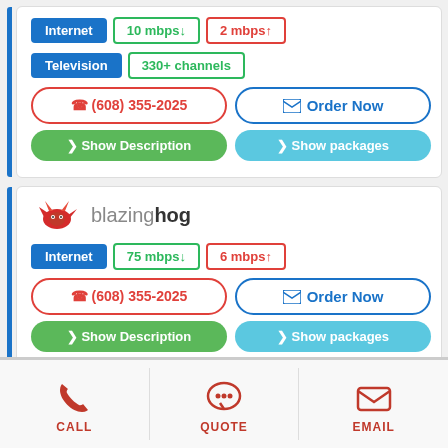Internet | 10 mbps↓ | 2 mbps↑
Television | 330+ channels
☎ (608) 355-2025
✉ Order Now
✦ Show Description
✦ Show packages
[Figure (logo): Blazinghog logo — red flame/hog icon with text 'blazinghog' in grey and bold dark]
Internet | 75 mbps↓ | 6 mbps↑
☎ (608) 355-2025
✉ Order Now
✦ Show Description
✦ Show packages
CALL
QUOTE
EMAIL